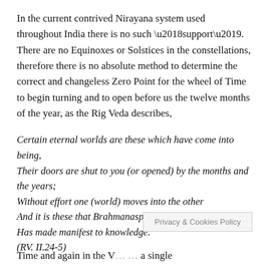In the current contrived Nirayana system used throughout India there is no such ‘support’. There are no Equinoxes or Solstices in the constellations, therefore there is no absolute method to determine the correct and changeless Zero Point for the wheel of Time to begin turning and to open before us the twelve months of the year, as the Rig Veda describes,
Certain eternal worlds are these which have come into being,
Their doors are shut to you (or opened) by the months and the years;
Without effort one (world) moves into the other
And it is these that Brahmanaspati,
Has made manifest to knowledge.
(RV. II.24-5)
Time and again in the V… … a single